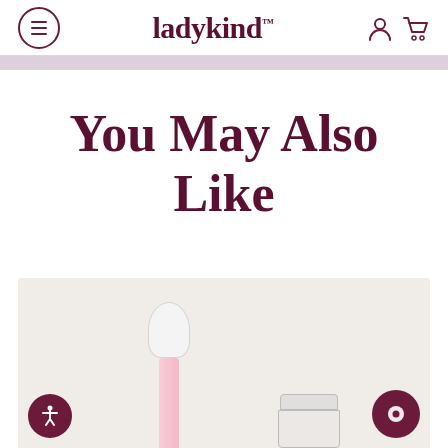ladykind navigation bar with menu, logo, account and cart icons
You May Also Like
[Figure (photo): Product photo showing a pink dropper bottle and a glass jar cosmetic container on a beige/cream background, partially visible at the bottom of the page. Accessibility icon button in lower left and chat button in lower right.]